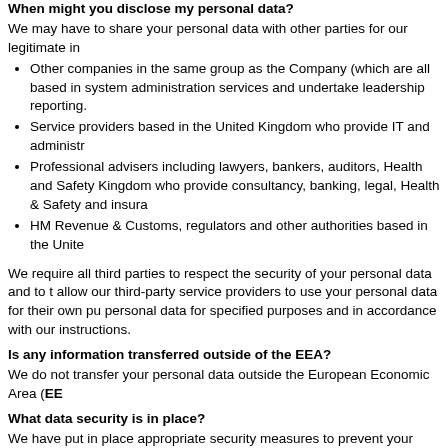When might you disclose my personal data?
We may have to share your personal data with other parties for our legitimate in
Other companies in the same group as the Company (which are all based in system administration services and undertake leadership reporting.
Service providers based in the United Kingdom who provide IT and administr
Professional advisers including lawyers, bankers, auditors, Health and Safety Kingdom who provide consultancy, banking, legal, Health & Safety and insura
HM Revenue & Customs, regulators and other authorities based in the Unite
We require all third parties to respect the security of your personal data and to t allow our third-party service providers to use your personal data for their own pu personal data for specified purposes and in accordance with our instructions.
Is any information transferred outside of the EEA?
We do not transfer your personal data outside the European Economic Area (EE
What data security is in place?
We have put in place appropriate security measures to prevent your personal d accessed in an unauthorised way, altered or disclosed. In addition, we limit acce agents, contractors and other third parties who have a business need to know. our instructions and they are subject to a duty of confidentiality.
We have put in place procedures to deal with any suspected personal data brea regulator of a breach where we are legally required to do so.
How long will you use my personal data for?
We will only retain your personal data for as long as necessary to fulfil the purpo purposes of satisfying any legal, accounting, or reporting requirements.